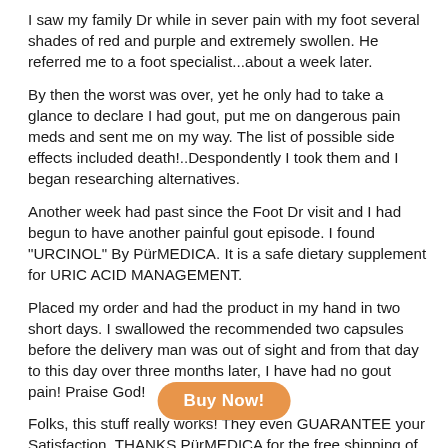I saw my family Dr while in sever pain with my foot several shades of red and purple and extremely swollen. He referred me to a foot specialist...about a week later.
By then the worst was over, yet he only had to take a glance to declare I had gout, put me on dangerous pain meds and sent me on my way. The list of possible side effects included death!..Despondently I took them and I began researching alternatives.
Another week had past since the Foot Dr visit and I had begun to have another painful gout episode. I found "URCINOL" By PürMEDICA. It is a safe dietary supplement for URIC ACID MANAGEMENT.
Placed my order and had the product in my hand in two short days. I swallowed the recommended two capsules before the delivery man was out of sight and from that day to this day over three months later, I have had no gout pain! Praise God!
Folks, this stuff really works! They even GUARANTEE your Satisfaction. THANKS PürMEDICA for the free shipping of my product each month! I will gla[dly] be a faithful customer rather than suffer even one day with that terrible debilitating pain ever